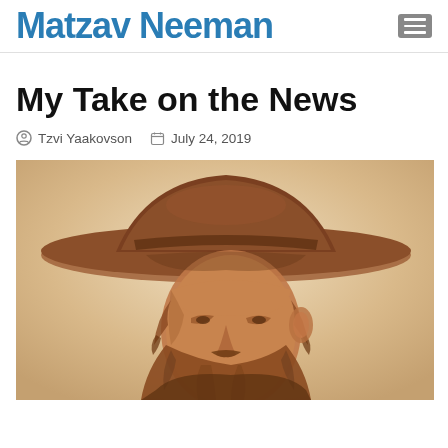Matzav Neeman
My Take on the News
Tzvi Yaakovson   July 24, 2019
[Figure (illustration): Sepia-toned pencil drawing of an elderly bearded man wearing a wide-brimmed fedora hat, looking downward. The figure has curly sidelocks and a full beard, rendered in reddish-brown tones on a light tan background.]